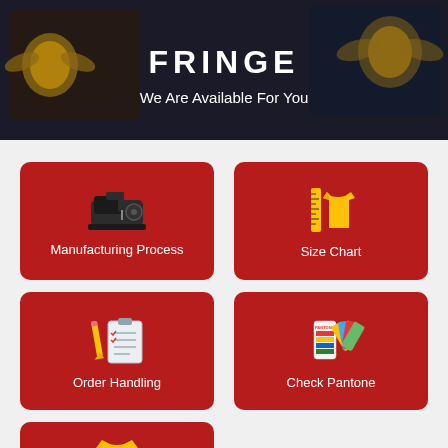FRINGE
We Are Available For You
[Figure (illustration): Red card with sewing machine icon — Manufacturing Process]
Manufacturing Process
[Figure (illustration): Red card with shirt and ruler icon — Size Chart]
Size Chart
[Figure (illustration): Red card with clipboard and pencil icon — Order Handling]
Order Handling
[Figure (illustration): Red card with Pantone color swatches icon — Check Pantone]
Check Pantone
[Figure (illustration): Red card with t-shirt and sliders icon (partially visible)]